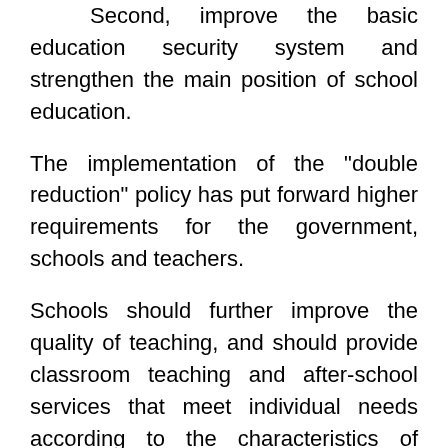Second, improve the basic education security system and strengthen the main position of school education.
The implementation of the "double reduction" policy has put forward higher requirements for the government, schools and teachers.
Schools should further improve the quality of teaching, and should provide classroom teaching and after-school services that meet individual needs according to the characteristics of different students.
Teachers need to have stronger professional teaching ability, multi-evaluation ability and home-school co-education guidance ability.